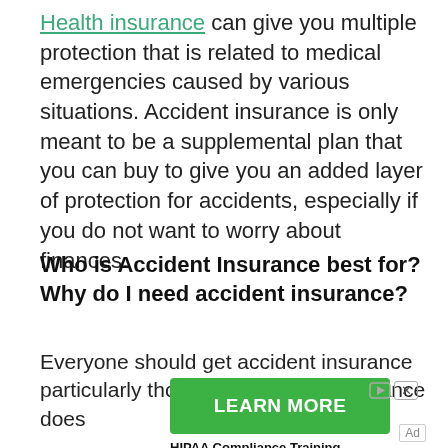Health insurance can give you multiple protection that is related to medical emergencies caused by various situations. Accident insurance is only meant to be a supplemental plan that you can buy to give you an added layer of protection for accidents, especially if you do not want to worry about finances.
Who is Accident Insurance best for? Why do I need accident insurance?
Everyone should get accident insurance particularly those whose health insurance does not cover medical expenses or those with...
[Figure (other): Green advertisement banner with text 'LEARN MORE' and icons, captioned 'HIPAA Compliance Training']
HIPAA Compliance Training
Ad